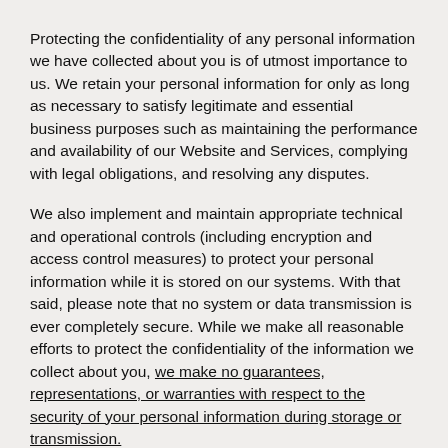Protecting the confidentiality of any personal information we have collected about you is of utmost importance to us. We retain your personal information for only as long as necessary to satisfy legitimate and essential business purposes such as maintaining the performance and availability of our Website and Services, complying with legal obligations, and resolving any disputes.
We also implement and maintain appropriate technical and operational controls (including encryption and access control measures) to protect your personal information while it is stored on our systems. With that said, please note that no system or data transmission is ever completely secure. While we make all reasonable efforts to protect the confidentiality of the information we collect about you, we make no guarantees, representations, or warranties with respect to the security of your personal information during storage or transmission.